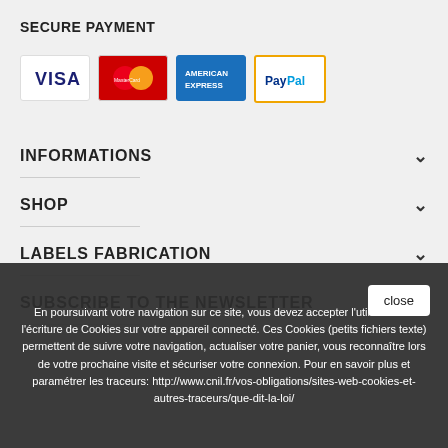SECURE PAYMENT
[Figure (logo): Payment method logos: VISA, MasterCard, American Express, PayPal]
INFORMATIONS
SHOP
LABELS FABRICATION
SUBSCRIBE TO THE NEWSLETTER
En poursuivant votre navigation sur ce site, vous devez accepter l'utilisation et l'écriture de Cookies sur votre appareil connecté. Ces Cookies (petits fichiers texte) permettent de suivre votre navigation, actualiser votre panier, vous reconnaître lors de votre prochaine visite et sécuriser votre connexion. Pour en savoir plus et paramétrer les traceurs: http://www.cnil.fr/vos-obligations/sites-web-cookies-et-autres-traceurs/que-dit-la-loi/